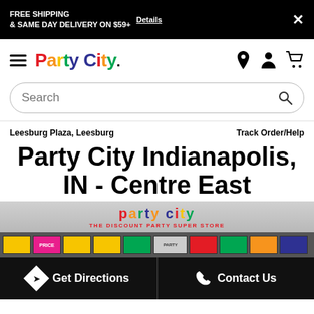FREE SHIPPING & SAME DAY DELIVERY ON $59+ Details
[Figure (logo): Party City logo with colorful letters]
Search
Leesburg Plaza, Leesburg
Track Order/Help
Party City Indianapolis, IN - Centre East
[Figure (photo): Party City store front showing partial logo and 'THE DISCOUNT PARTY SUPER STORE' signage with colorful display windows]
Get Directions
Contact Us